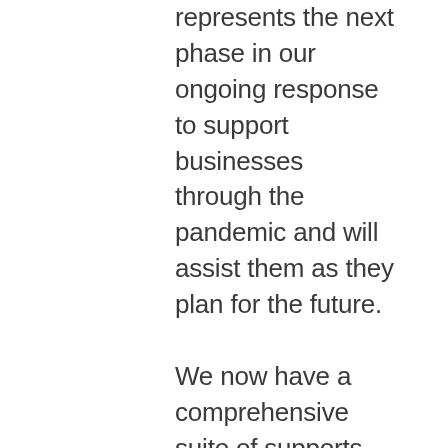represents the next phase in our ongoing response to support businesses through the pandemic and will assist them as they plan for the future.

We now have a comprehensive suite of supports for firms of all sizes, which